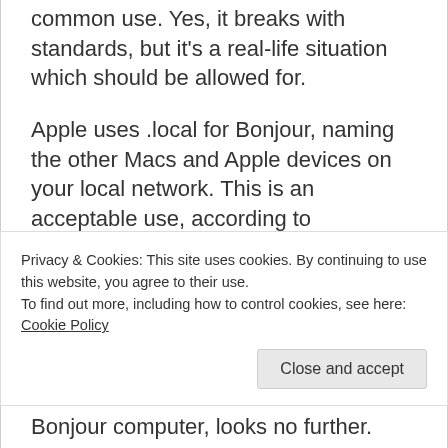common use. Yes, it breaks with standards, but it's a real-life situation which should be allowed for.

Apple uses .local for Bonjour, naming the other Macs and Apple devices on your local network. This is an acceptable use, according to standards. Up until recently, the way OS X looked for .local domains in a
Privacy & Cookies: This site uses cookies. By continuing to use this website, you agree to their use.
To find out more, including how to control cookies, see here: Cookie Policy
Bonjour computer, looks no further.